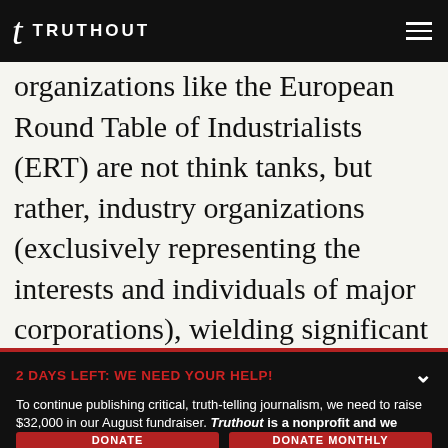TRUTHOUT
organizations like the European Round Table of Industrialists (ERT) are not think tanks, but rather, industry organizations (exclusively representing the interests and individuals of major corporations), wielding significant influence on political and social life. A
2 DAYS LEFT: WE NEED YOUR HELP!
To continue publishing critical, truth-telling journalism, we need to raise $32,000 in our August fundraiser. Truthout is a nonprofit and we don't run ads or require a subscription – instead, we depend on small donations to survive. Can we count on your support before time runs out?
DONATE   DONATE MONTHLY